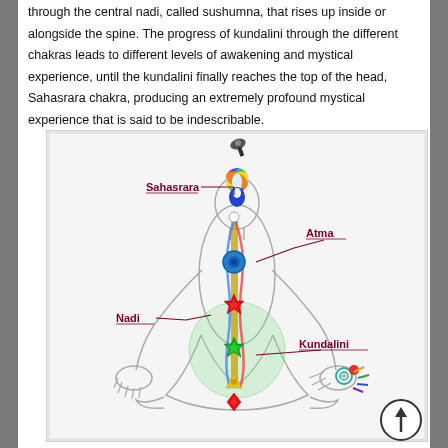through the central nadi, called sushumna, that rises up inside or alongside the spine. The progress of kundalini through the different chakras leads to different levels of awakening and mystical experience, until the kundalini finally reaches the top of the head, Sahasrara chakra, producing an extremely profound mystical experience that is said to be indescribable.
[Figure (illustration): Diagram of a meditating human figure in lotus position showing chakras along the spine with labeled elements: Sahasrara (crown chakra with lotus flower), Atma, Nadi, Kundalini, and colored chakra circles along the central channel (sushumna). A thumbtack icon appears at the top of the diagram. Labels include Sahasrara (top left), Atma (right), Nadi (left), and Kundalini (bottom right).]